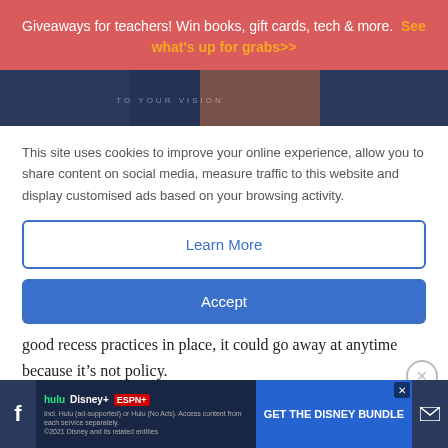Giveaways for teachers! Win books, gift cards, tech & more.  See what's up for grabs>>
[Figure (photo): Partial view of a person in front of a dark blue background with text 'TO YOUR VISION']
This site uses cookies to improve your online experience, allow you to share content on social media, measure traffic to this website and display customised ads based on your browsing activity.
Learn More
Accept
good recess practices in place, it could go away at anytime because it’s not policy.
[Figure (screenshot): Disney Bundle advertisement banner showing Hulu, Disney+, ESPN+ logos with GET THE DISNEY BUNDLE CTA button and fine print]